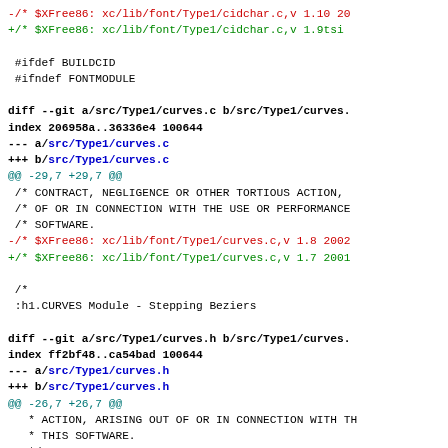Diff output showing changes to cidchar.c, curves.c, and curves.h files in XFree86 source tree